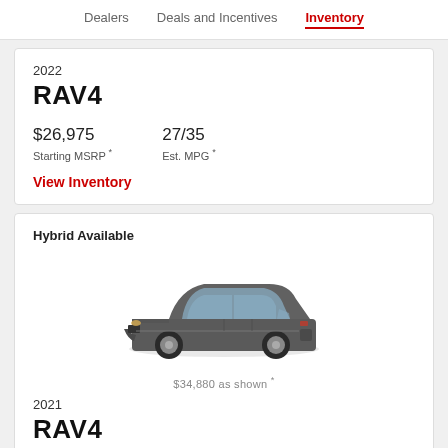Dealers | Deals and Incentives | Inventory
2022
RAV4
$26,975 Starting MSRP * | 27/35 Est. MPG *
View Inventory
Hybrid Available
[Figure (photo): Gray Toyota RAV4 SUV shown from a front 3/4 angle]
$34,880 as shown *
2021
RAV4